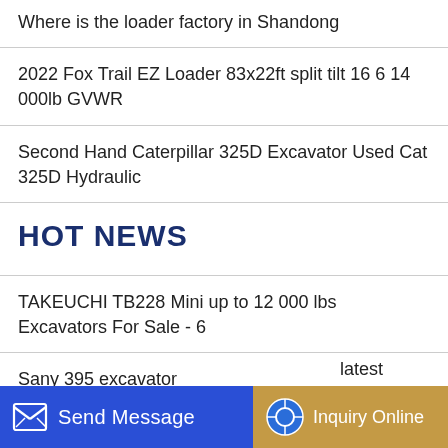Where is the loader factory in Shandong
2022 Fox Trail EZ Loader 83x22ft split tilt 16 6 14 000lb GVWR
Second Hand Caterpillar 325D Excavator Used Cat 325D Hydraulic
HOT NEWS
TAKEUCHI TB228 Mini up to 12 000 lbs Excavators For Sale - 6
Sany 395 excavator
Komatsu 210 excavator parameters
latest